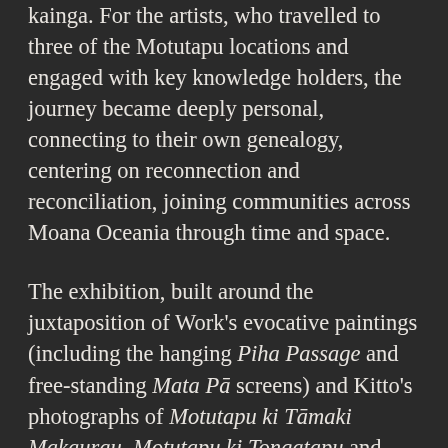kainga. For the artists, who travelled to three of the Motutapu locations and engaged with key knowledge holders, the journey became deeply personal, connecting to their own genealogy, centering on reconnection and reconciliation, joining communities across Moana Oceania through time and space.
The exhibition, built around the juxtaposition of Work's evocative paintings (including the hanging Piha Passage and free-standing Mata Pā screens) and Kitto's photographs of Motutapu ki Tāmaki Makaurau, Motutapu ki Tongatapu and Motutapu ki Raraotonga, is currently on show at Te Uru – Waitakere Contemporary Gallery (11 June – 11 September 2022), and includes the launch of an